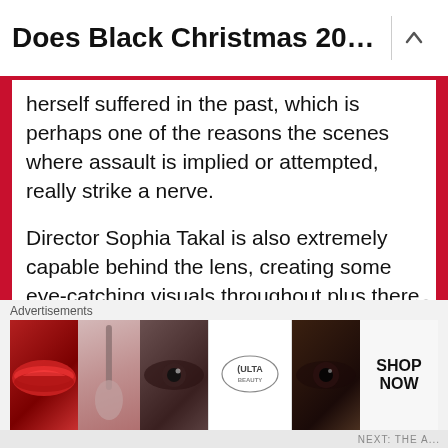Does Black Christmas 201...
herself suffered in the past, which is perhaps one of the reasons the scenes where assault is implied or attempted, really strike a nerve.
Director Sophia Takal is also extremely capable behind the lens, creating some eye-catching visuals throughout plus there is even a callback to The Exorcist III.
My advice would be to go into Black Christmas 2019 without reading about the past iterations
Advertisements
[Figure (photo): ULTA beauty advertisement banner with cosmetic product images (lips, brush, eye) and SHOP NOW call to action]